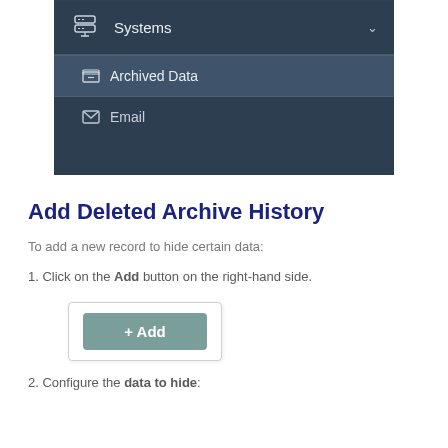[Figure (screenshot): Navigation menu screenshot showing Systems dropdown with Archived Data and Email sub-items on a dark background]
Add Deleted Archive History
To add a new record to hide certain data:
1. Click on the Add button on the right-hand side.
[Figure (screenshot): A teal/green + Add button inside a white panel with shadow]
2. Configure the data to hide: